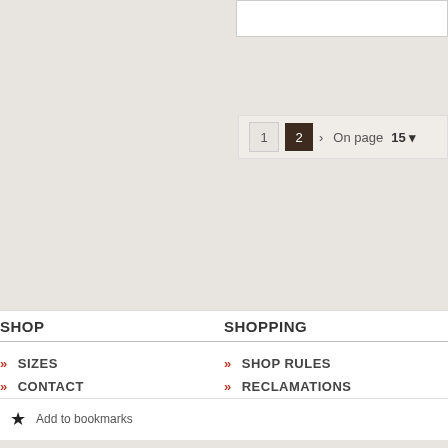1  2  >  On page  15
SHOP
SHOPPING
SIZES
CONTACT
NEWS
WE RECOMMEND
SHOP RULES
RECLAMATIONS
SHIPPING
ORDER BY PHONE
Add to bookmarks